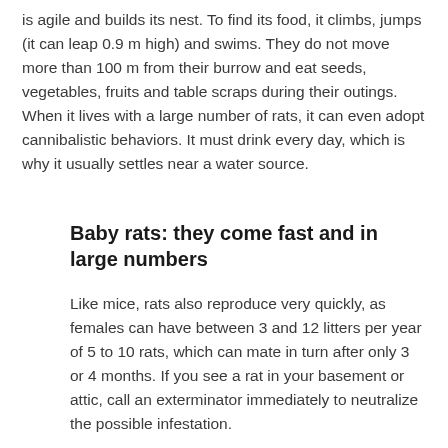is agile and builds its nest. To find its food, it climbs, jumps (it can leap 0.9 m high) and swims. They do not move more than 100 m from their burrow and eat seeds, vegetables, fruits and table scraps during their outings. When it lives with a large number of rats, it can even adopt cannibalistic behaviors. It must drink every day, which is why it usually settles near a water source.
Baby rats: they come fast and in large numbers
Like mice, rats also reproduce very quickly, as females can have between 3 and 12 litters per year of 5 to 10 rats, which can mate in turn after only 3 or 4 months. If you see a rat in your basement or attic, call an exterminator immediately to neutralize the possible infestation.
Rat in the house: where is it